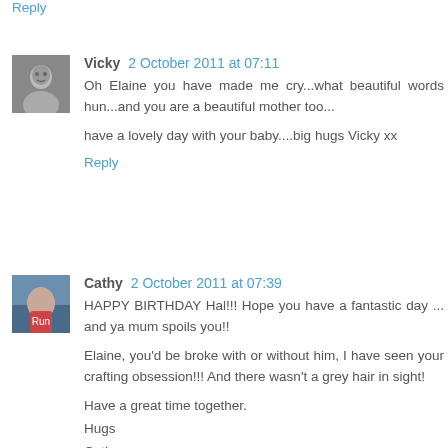Reply
Vicky 2 October 2011 at 07:11
Oh Elaine you have made me cry...what beautiful words hun...and you are a beautiful mother too...

have a lovely day with your baby....big hugs Vicky xx
Reply
Cathy 2 October 2011 at 07:39
HAPPY BIRTHDAY Hal!!! Hope you have a fantastic day ... and ya mum spoils you!!

Elaine, you'd be broke with or without him, I have seen your crafting obsession!!! And there wasn't a grey hair in sight!

Have a great time together.
Hugs
Cathy xx